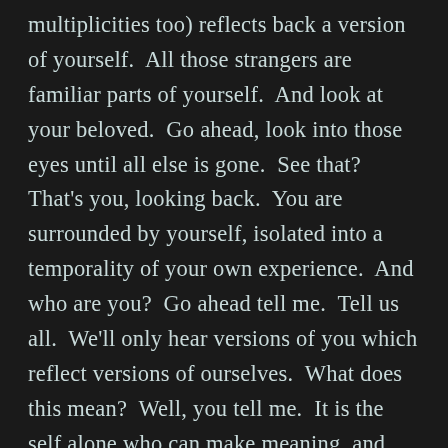multiplicities too) reflects back a version of yourself.  All those strangers are familiar parts of yourself.  And look at your beloved.  Go ahead, look into those eyes until all else is gone.  See that?  That's you, looking back.  You are surrounded by yourself, isolated into a temporality of your own experience.  And who are you?  Go ahead tell me.  Tell us all.  We'll only hear versions of you which reflect versions of ourselves.  What does this mean?  Well, you tell me.  It is the self alone who can make meaning, and only for the self.  And what might be insensible to me might be meaningful to you.  Who are you?  You are me.  Who am I?  I am you.  Who am I?  I am God. Who